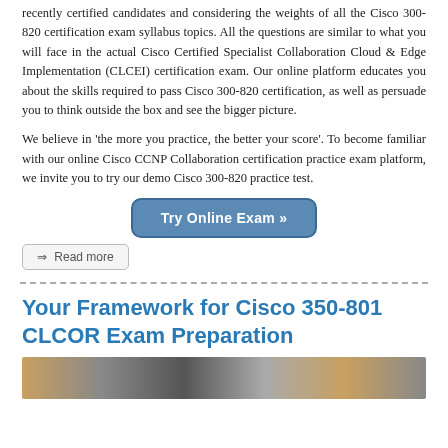recently certified candidates and considering the weights of all the Cisco 300-820 certification exam syllabus topics. All the questions are similar to what you will face in the actual Cisco Certified Specialist Collaboration Cloud & Edge Implementation (CLCEI) certification exam. Our online platform educates you about the skills required to pass Cisco 300-820 certification, as well as persuade you to think outside the box and see the bigger picture.
We believe in 'the more you practice, the better your score'. To become familiar with our online Cisco CCNP Collaboration certification practice exam platform, we invite you to try our demo Cisco 300-820 practice test.
[Figure (other): Button labeled 'Try Online Exam »' with blue rounded rectangle style]
⇒ Read more
Your Framework for Cisco 350-801 CLCOR Exam Preparation
[Figure (photo): Partial photo strip at bottom of page, showing a person and technology equipment]